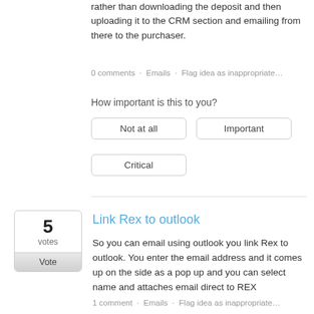rather than downloading the deposit and then uploading it to the CRM section and emailing from there to the purchaser.
0 comments · Emails · Flag idea as inappropriate…
How important is this to you?
Not at all
Important
Critical
Link Rex to outlook
So you can email using outlook you link Rex to outlook. You enter the email address and it comes up on the side as a pop up and you can select name and attaches email direct to REX
1 comment · Emails · Flag idea as inappropriate…